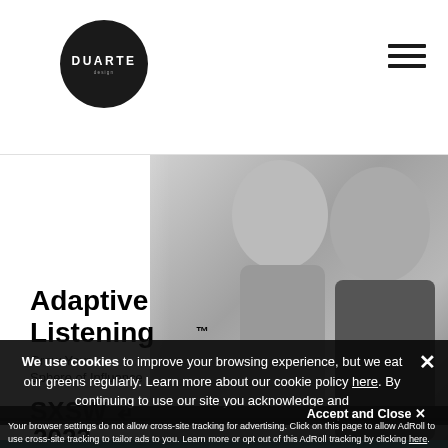DUARTE
[Figure (photo): Black and white photo of two women smiling, with overlay text 'Adaptive Listening™ Grow Your Sphere of Influence' and SXSW 2023 logo]
We use cookies to improve your browsing experience, but we eat our greens regularly. Learn more about our cookie policy here. By continuing to use our site you acknowledge and accept our privacy policy terms of use.
Accept and Close ×
Your browser settings do not allow cross-site tracking for advertising. Click on this page to allow AdRoll to use cross-site tracking to tailor ads to you. Learn more or opt out of this AdRoll tracking by clicking here. This message only appears once.